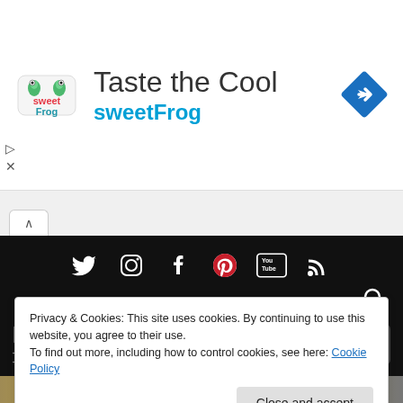[Figure (screenshot): SweetFrog advertisement banner with logo, 'Taste the Cool' heading, 'sweetFrog' subtitle, and a blue navigation arrow icon]
Taste the Cool
sweetFrog
[Figure (screenshot): Browser tab bar with a collapse arrow and open tab]
[Figure (screenshot): Black website navigation bar with social media icons: Twitter, Instagram, Facebook, Pinterest, YouTube, RSS, and a search icon]
MAKING A SCENE!
THE #1 RESOURCE FOR THE INDEPENDENT ARTIST AND THE FANS THAT LOVE THEM!
Privacy & Cookies: This site uses cookies. By continuing to use this website, you agree to their use.
To find out more, including how to control cookies, see here: Cookie Policy
[Figure (photo): Bottom image strip partially visible]